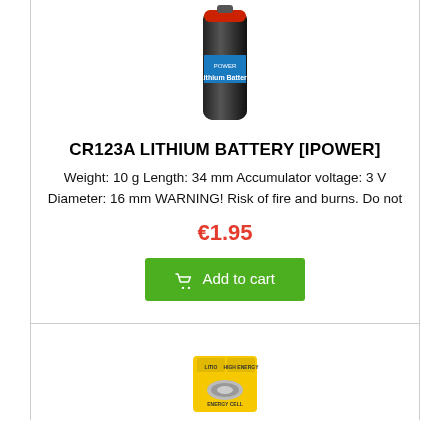[Figure (photo): CR123A lithium battery product photo, dark cylindrical battery with blue and red label]
CR123A LITHIUM BATTERY [IPOWER]
Weight: 10 g Length: 34 mm Accumulator voltage: 3 V Diameter: 16 mm WARNING! Risk of fire and burns. Do not
€1.95
Add to cart
[Figure (photo): Small yellow coin cell / button battery product image labeled ENERGY CELL]